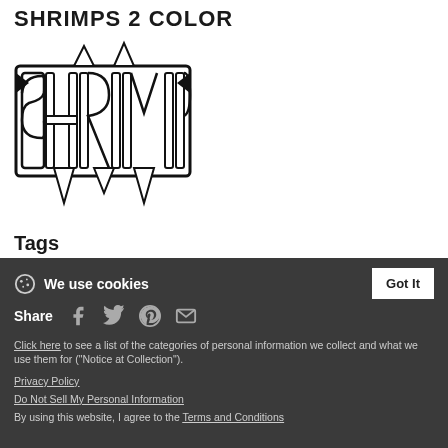SHRIMPS 2 COLOR
[Figure (logo): Graffiti-style black and white logo reading 'Shrimps' with complex lettering and angular decorative elements]
Tags
shrimps
retro
pixel
Share  |  Cookie notice: We use cookies  Got It  Click here to see a list of the categories of personal information we collect and what we use them for ("Notice at Collection").  Privacy Policy  Do Not Sell My Personal Information  By using this website, I agree to the Terms and Conditions